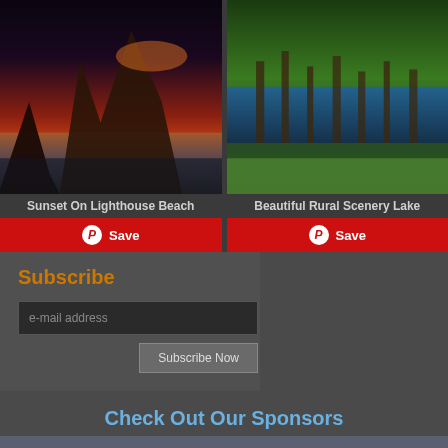[Figure (photo): Sunset on lighthouse beach — dramatic rocky cliff with orange/red sunset sky and ocean waves]
Sunset On Lighthouse Beach
[Figure (photo): Beautiful rural scenery lake — green landscape with water, reeds and lush vegetation]
Beautiful Rural Scenery Lake
Subscribe
e-mail address
Subscribe Now
Check Out Our Sponsors
[Figure (logo): Find us on Facebook button — blue rectangle with f logo and text 'find us on facebook']
Follow @Wallpaperia
[Figure (logo): Wallpaperia Pinterest button — white rectangle with Pinterest icon and Wallpaperia text]